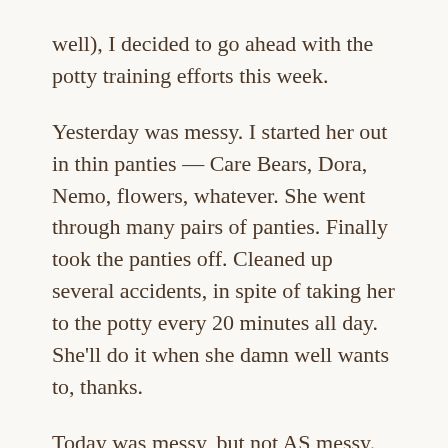well), I decided to go ahead with the potty training efforts this week.
Yesterday was messy. I started her out in thin panties — Care Bears, Dora, Nemo, flowers, whatever. She went through many pairs of panties. Finally took the panties off. Cleaned up several accidents, in spite of taking her to the potty every 20 minutes all day. She'll do it when she damn well wants to, thanks.
Today was messy, but not AS messy. Probably went through 5 pairs of panties today.
But tonight? Tonight was a beautiful thing. The girls and I were watching Disney's Tarzan (well,